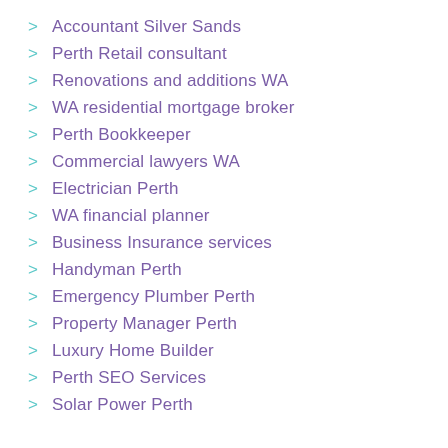Accountant Silver Sands
Perth Retail consultant
Renovations and additions WA
WA residential mortgage broker
Perth Bookkeeper
Commercial lawyers WA
Electrician Perth
WA financial planner
Business Insurance services
Handyman Perth
Emergency Plumber Perth
Property Manager Perth
Luxury Home Builder
Perth SEO Services
Solar Power Perth